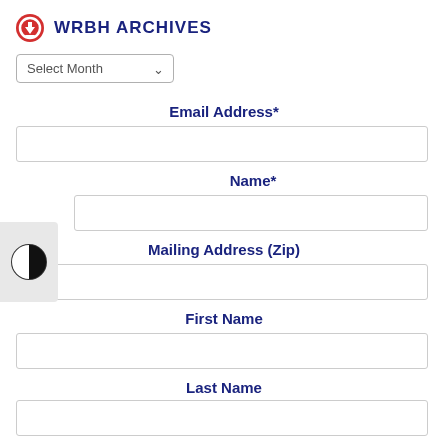WRBH ARCHIVES
Select Month
Email Address*
Name*
Mailing Address (Zip)
First Name
Last Name